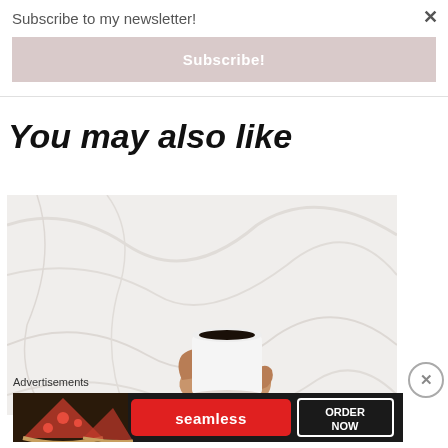Subscribe to my newsletter!
Subscribe!
You may also like
[Figure (photo): A hand holding a white cup of black coffee against crumpled white fabric/bedsheets background]
Advertisements
[Figure (photo): Seamless food delivery advertisement banner showing pizza slices on the left, Seamless logo in the center on a red background, and ORDER NOW text on the right in a white bordered box, all on a dark background]